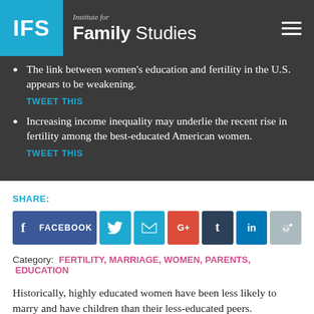IFS — Institute for Family Studies
The link between women's education and fertility in the U.S. appears to be weakening. TWEET THIS
Increasing income inequality may underlie the recent rise in fertility among the best-educated American women. TWEET THIS
SHARE:
Category: FERTILITY, MARRIAGE, WOMEN, PARENTS, EDUCATION
Historically, highly educated women have been less likely to marry and have children than their less-educated peers.